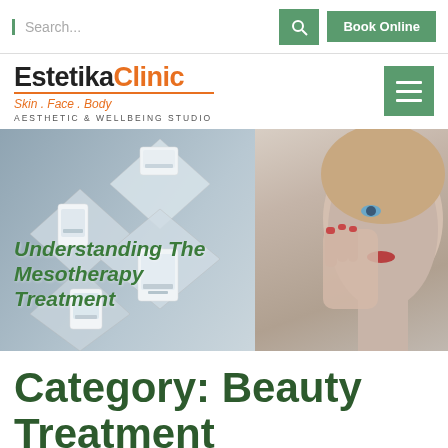Search... | Book Online
[Figure (logo): EstetikaClinic logo with tagline Skin . Face . Body and AESTHETIC & WELLBEING STUDIO]
[Figure (photo): Hero banner showing medical aesthetic devices arranged in diamond pattern on left, and a woman touching her face on the right, with green overlay text 'Understanding The Mesotherapy Treatment']
Category: Beauty Treatment